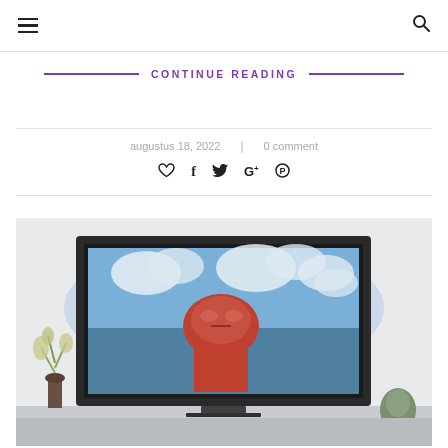≡ (hamburger menu) | 🔍 (search icon)
CONTINUE READING
augustus 18, 2022 | 0 comment
♡ f ✓ G+ ⓟ (social share icons)
[Figure (photo): A large flat-screen TV displaying an anime scene (Attack on Titan - Colossal Titan) placed on a surface with a plant on the left and a small decorative object on the right, with ambient lighting behind the TV.]